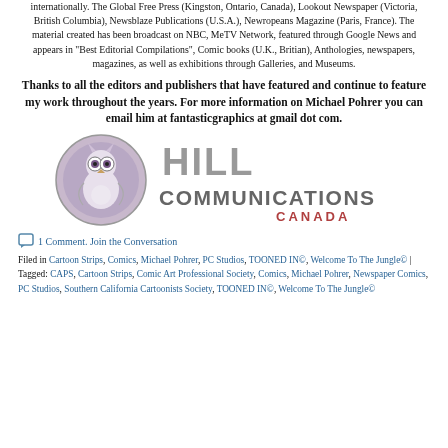internationally. The Global Free Press (Kingston, Ontario, Canada), Lookout Newspaper (Victoria, British Columbia), Newsblaze Publications (U.S.A.), Newropeans Magazine (Paris, France). The material created has been broadcast on NBC, MeTV Network, featured through Google News and appears in "Best Editorial Compilations", Comic books (U.K., Britian), Anthologies, newspapers, magazines, as well as exhibitions through Galleries, and Museums.
Thanks to all the editors and publishers that have featured and continue to feature my work throughout the years. For more information on Michael Pohrer you can email him at fantasticgraphics at gmail dot com.
[Figure (logo): Hill Communications Canada logo — owl icon in circle on left, large text HILL COMMUNICATIONS with CANADA below in smaller text on right]
1 Comment. Join the Conversation
Filed in Cartoon Strips, Comics, Michael Pohrer, PC Studios, TOONED IN©, Welcome To The Jungle© | Tagged: CAPS, Cartoon Strips, Comic Art Professional Society, Comics, Michael Pohrer, Newspaper Comics, PC Studios, Southern California Cartoonists Society, TOONED IN©, Welcome To The Jungle©